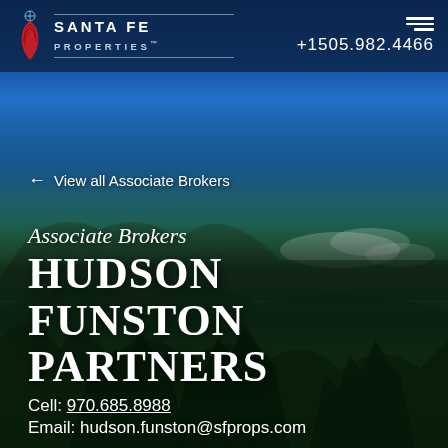[Figure (photo): Aerial mountain landscape with forested hills, pine trees, and blue sky with clouds — New Mexico landscape background image]
SANTA FE PROPERTIES™  +1505.982.4466
← View all Associate Brokers
Associate Brokers
HUDSON FUNSTON PARTNERS
Cell: 970.685.8988
Email: hudson.funston@sfprops.com